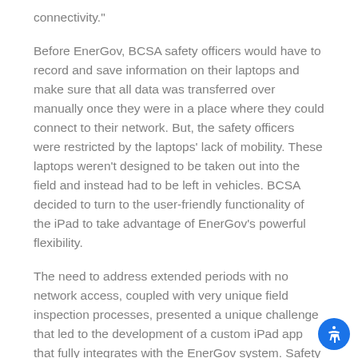connectivity."
Before EnerGov, BCSA safety officers would have to record and save information on their laptops and make sure that all data was transferred over manually once they were in a place where they could connect to their network. But, the safety officers were restricted by the laptops' lack of mobility. These laptops weren't designed to be taken out into the field and instead had to be left in vehicles. BCSA decided to turn to the user-friendly functionality of the iPad to take advantage of EnerGov's powerful flexibility.
The need to address extended periods with no network access, coupled with very unique field inspection processes, presented a unique challenge that led to the development of a custom iPad app that fully integrates with the EnerGov system. Safety offices can now take their iPads on site with them